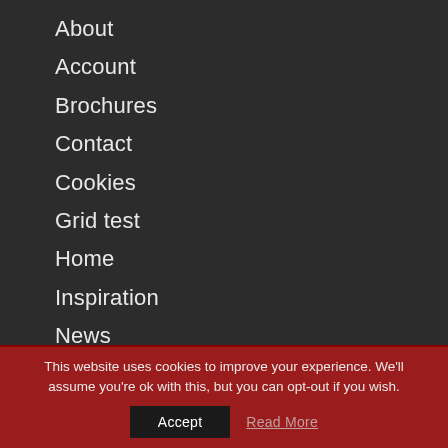About
Account
Brochures
Contact
Cookies
Grid test
Home
Inspiration
News
Privacy
Shop
Terms & Conditions
This website uses cookies to improve your experience. We'll assume you're ok with this, but you can opt-out if you wish.
Accept  Read More